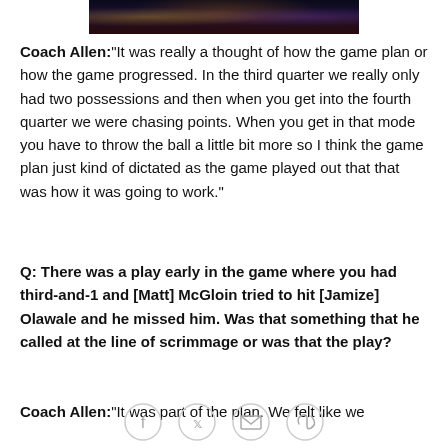[Figure (photo): Nighttime cityscape photo strip, dark tones with city lights]
Coach Allen: "It was really a thought of how the game plan or how the game progressed. In the third quarter we really only had two possessions and then when you get into the fourth quarter we were chasing points. When you get in that mode you have to throw the ball a little bit more so I think the game plan just kind of dictated as the game played out that that was how it was going to work."
Q: There was a play early in the game where you had third-and-1 and [Matt] McGloin tried to hit [Jamize] Olawale and he missed him. Was that something that he called at the line of scrimmage or was that the play?
Coach Allen:"It was part of the plan. We felt like we
[Figure (infographic): Social sharing icons: Facebook, Twitter, Email, Link]